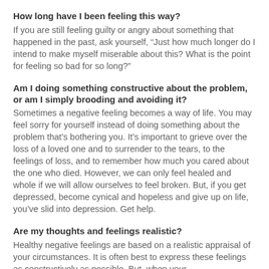How long have I been feeling this way?
If you are still feeling guilty or angry about something that happened in the past, ask yourself, “Just how much longer do I intend to make myself miserable about this? What is the point for feeling so bad for so long?”
Am I doing something constructive about the problem, or am I simply brooding and avoiding it?
Sometimes a negative feeling becomes a way of life. You may feel sorry for yourself instead of doing something about the problem that’s bothering you. It’s important to grieve over the loss of a loved one and to surrender to the tears, to the feelings of loss, and to remember how much you cared about the one who died. However, we can only feel healed and whole if we will allow ourselves to feel broken. But, if you get depressed, become cynical and hopeless and give up on life, you’ve slid into depression. Get help.
Are my thoughts and feelings realistic?
Healthy negative feelings are based on a realistic appraisal of your circumstances. It is often best to express these feelings as constructively as possible. But, when your